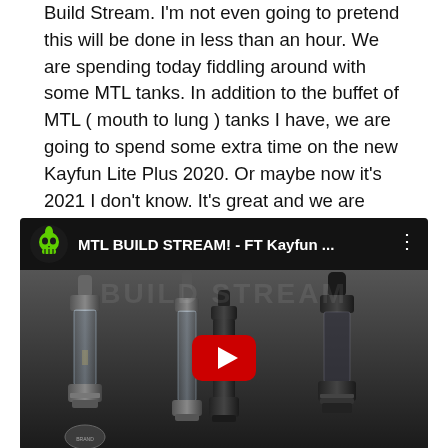Build Stream. I'm not even going to pretend this will be done in less than an hour. We are spending today fiddling around with some MTL tanks. In addition to the buffet of MTL ( mouth to lung ) tanks I have, we are going to spend some extra time on the new Kayfun Lite Plus 2020. Or maybe now it's 2021 I don't know. It's great and we are going to build it, as well as clean up and freshen up a few other choice MTL tanks including Bogan's ETHER RTA, The DVARW and lastly the Pioneer.
[Figure (screenshot): YouTube video embed showing 'MTL BUILD STREAM! - FT Kayfun ...' with a channel icon of a green skull character, video options dots button, and thumbnail showing multiple MTL vaping tanks on dark background with YouTube play button overlay and 'BUILD STREAM' watermark text.]